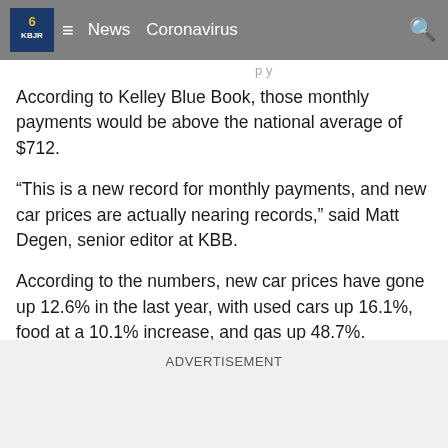KBJR | News | Coronavirus
According to Kelley Blue Book, those monthly payments would be above the national average of $712.
“This is a new record for monthly payments, and new car prices are actually nearing records,” said Matt Degen, senior editor at KBB.
According to the numbers, new car prices have gone up 12.6% in the last year, with used cars up 16.1%, food at a 10.1% increase, and gas up 48.7%.
ADVERTISEMENT